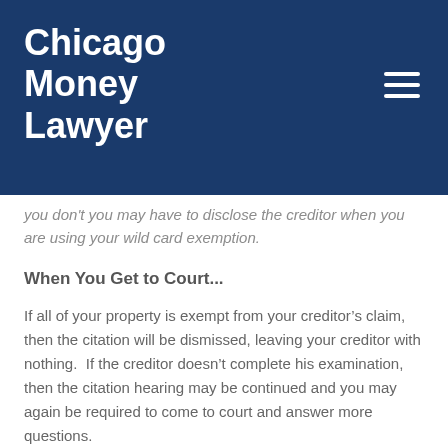Chicago Money Lawyer
you don't you may have to disclose the creditor when you are using your wild card exemption.
When You Get to Court...
If all of your property is exempt from your creditor's claim, then the citation will be dismissed, leaving your creditor with nothing.  If the creditor doesn't complete his examination, then the citation hearing may be continued and you may again be required to come to court and answer more questions.
If the creditor's exam finds income or assets that are not